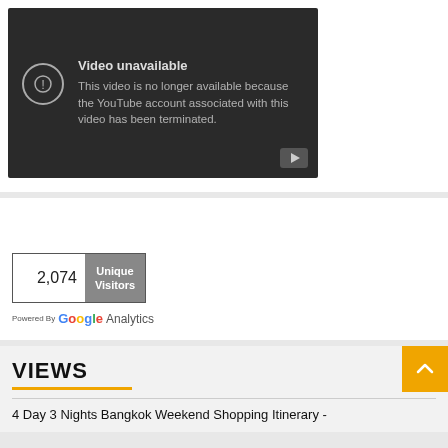[Figure (screenshot): YouTube embedded video player showing error: 'Video unavailable — This video is no longer available because the YouTube account associated with this video has been terminated.']
[Figure (infographic): Google Analytics widget showing 2,074 Unique Visitors. Powered By Google Analytics.]
VIEWS
4 Day 3 Nights Bangkok Weekend Shopping Itinerary -